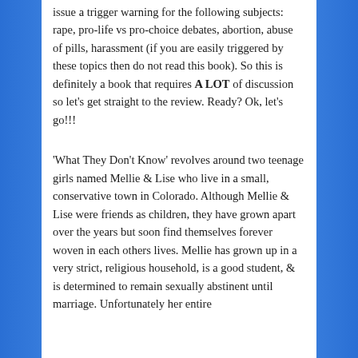issue a trigger warning for the following subjects: rape, pro-life vs pro-choice debates, abortion, abuse of pills, harassment (if you are easily triggered by these topics then do not read this book). So this is definitely a book that requires A LOT of discussion so let’s get straight to the review. Ready? Ok, let’s go!!!
‘What They Don’t Know’ revolves around two teenage girls named Mellie & Lise who live in a small, conservative town in Colorado. Although Mellie & Lise were friends as children, they have grown apart over the years but soon find themselves forever woven in each others lives. Mellie has grown up in a very strict, religious household, is a good student, & is determined to remain sexually abstinent until marriage. Unfortunately her entire